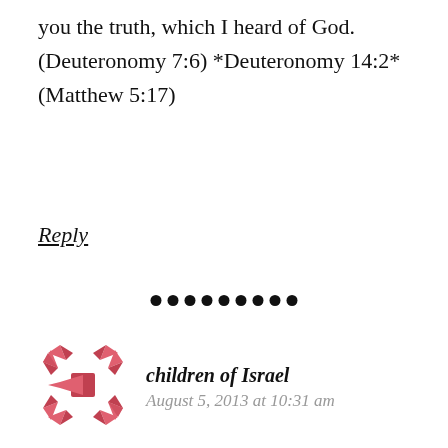you the truth, which I heard of God. (Deuteronomy 7:6) *Deuteronomy 14:2* (Matthew 5:17)
Reply
[Figure (other): Row of 9 black dots used as a section separator]
[Figure (illustration): Avatar icon with geometric star/cross pattern in pink/red tones]
children of Israel
August 5, 2013 at 10:31 am
Satan uses media distractions, and all his celebrity friends in high places. The rich have many friends and it's called do me a favor (Job 9:24). Grace is a gift of